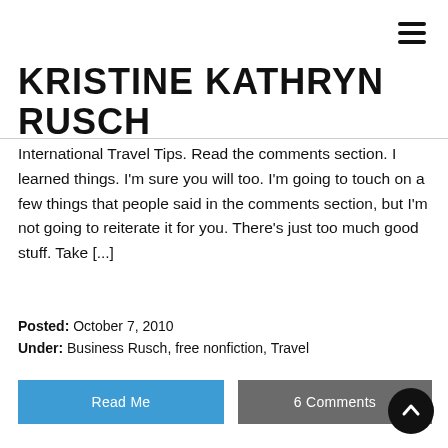KRISTINE KATHRYN RUSCH
International Travel Tips. Read the comments section. I learned things. I'm sure you will too. I'm going to touch on a few things that people said in the comments section, but I'm not going to reiterate it for you. There's just too much good stuff. Take [...]
Posted: October 7, 2010
Under: Business Rusch, free nonfiction, Travel
Read Me
6 Comments